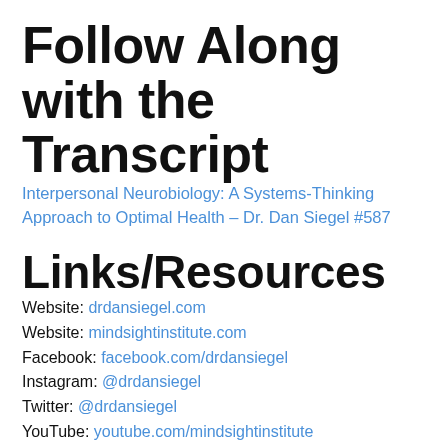Follow Along with the Transcript
Interpersonal Neurobiology: A Systems-Thinking Approach to Optimal Health – Dr. Dan Siegel #587
Links/Resources
Website: drdansiegel.com
Website: mindsightinstitute.com
Facebook: facebook.com/drdansiegel
Instagram: @drdansiegel
Twitter: @drdansiegel
YouTube: youtube.com/mindsightinstitute